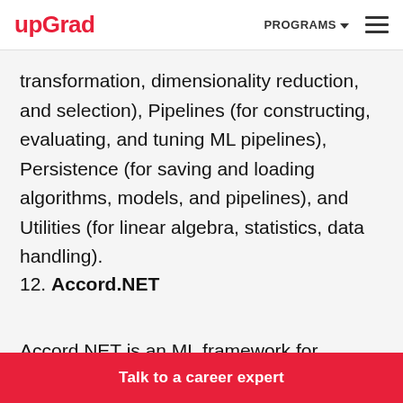upGrad | PROGRAMS ≡
transformation, dimensionality reduction, and selection), Pipelines (for constructing, evaluating, and tuning ML pipelines), Persistence (for saving and loading algorithms, models, and pipelines), and Utilities (for linear algebra, statistics, data handling).
12. Accord.NET
Accord.NET is an ML framework for scientific
Talk to a career expert